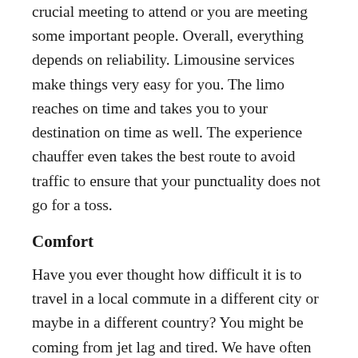crucial meeting to attend or you are meeting some important people. Overall, everything depends on reliability. Limousine services make things very easy for you. The limo reaches on time and takes you to your destination on time as well. The experience chauffer even takes the best route to avoid traffic to ensure that your punctuality does not go for a toss.
Comfort
Have you ever thought how difficult it is to travel in a local commute in a different city or maybe in a different country? You might be coming from jet lag and tired. We have often witnessed people need to give a presentation after a flight as well. A limo ensures every requirement is